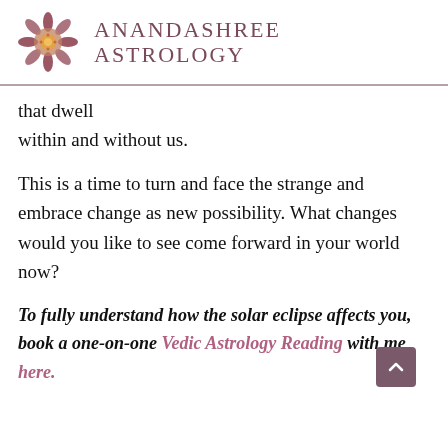Anandashree Astrology
that dwell within and without us.
This is a time to turn and face the strange and embrace change as new possibility. What changes would you like to see come forward in your world now?
To fully understand how the solar eclipse affects you, book a one-on-one Vedic Astrology Reading with me here.